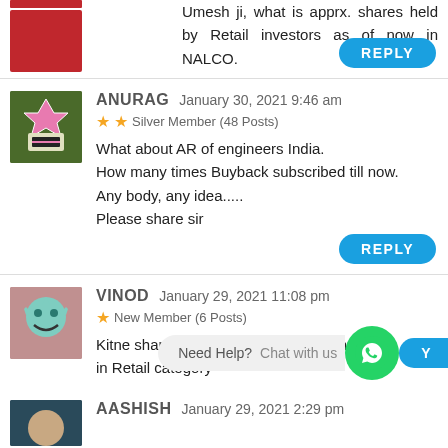Umesh ji, what is apprx. shares held by Retail investors as of now in NALCO.
REPLY
ANURAG   January 30, 2021 9:46 am
★★ Silver Member (48 Posts)
What about AR of engineers India.
How many times Buyback subscribed till now.
Any body, any idea.....
Please share sir
REPLY
VINOD   January 29, 2021 11:08 pm
★ New Member (6 Posts)
Kitne share buyback ke liye le sakte he in Retail category
Need Help? Chat with us
AASHISH   January 29, 2021 2:29 pm